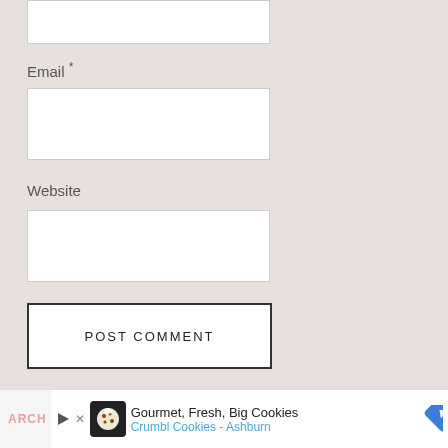[Figure (screenshot): Top portion of a partially visible white input text box (cropped at top)]
Email *
[Figure (screenshot): White rectangular input box for Email field]
Website
[Figure (screenshot): White rectangular input box for Website field]
[Figure (screenshot): POST COMMENT button with black border on white background]
[Figure (screenshot): Bottom advertisement bar showing Crumbl Cookies ad with logo, text 'Gourmet, Fresh, Big Cookies' and 'Crumbl Cookies - Ashburn', with play/close controls and navigation arrow. ARCH text visible on left.]